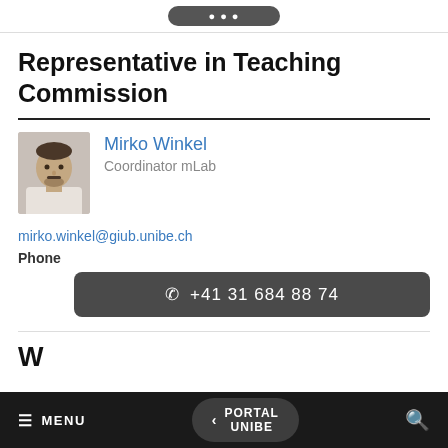Representative in Teaching Commission
Mirko Winkel
Coordinator mLab
mirko.winkel@giub.unibe.ch
Phone
+41 31 684 88 74
W
MENU   < PORTAL UNIBE   🔍